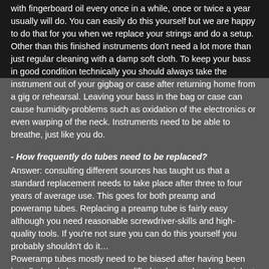with fingerboard oil every once in a while, once or twice a year usually will do. You can easily do this yourself but we are happy to do that for you when we replace your strings and do a setup. Other than this finished instruments don't need a lot more than just regular cleaning with a damp soft cloth. To keep your bass in good condition technically you should always take the instrument out of your gigbag or case after returning home from a gig or rehearsal. Leaving your bass in the bag or case can cause humidity-problems such as oxidation of the electronics or even warping of the neck. Instruments need to be able to breathe, just like you do.
- How frequently do tubes need to be replaced?
Answer: consulting different sources has taught us that a standard replacement needs to take place after three to four years of average use. This goes for both preamp and poweramp tubes. Replacing a preamp tube is fairly easy although you need reasonable screwdriver-skills and high-quality tools. If you're not sure you can do this yourself you probably shouldn't do it… Poweramp tubes mostly need to be biased after having been installed and chances are a qualified tech can do a better job at this than you can, unless you are a qualified tech yourself of